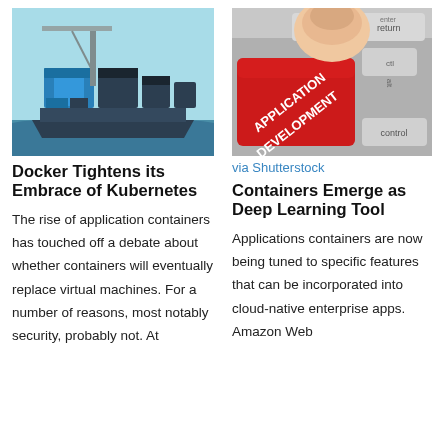[Figure (illustration): Illustration of a cargo ship with colorful shipping containers on it, in a flat cartoon style with blue/teal colors.]
Docker Tightens its Embrace of Kubernetes
The rise of application containers has touched off a debate about whether containers will eventually replace virtual machines. For a number of reasons, most notably security, probably not. At
[Figure (photo): Photo of a finger pressing a red keyboard key labeled 'APPLICATION DEVELOPMENT', with other grey keyboard keys visible.]
via Shutterstock
Containers Emerge as Deep Learning Tool
Applications containers are now being tuned to specific features that can be incorporated into cloud-native enterprise apps. Amazon Web